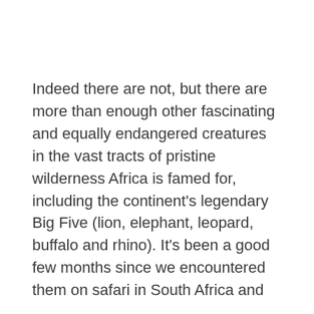Indeed there are not, but there are more than enough other fascinating and equally endangered creatures in the vast tracts of pristine wilderness Africa is famed for, including the continent's legendary Big Five (lion, elephant, leopard, buffalo and rhino). It's been a good few months since we encountered them on safari in South Africa and